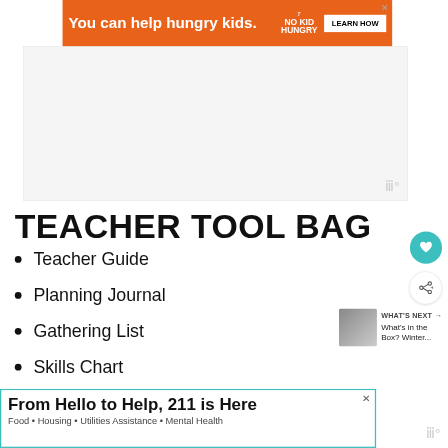[Figure (screenshot): Orange advertisement banner: 'You can help hungry kids. NO KID HUNGRY. LEARN HOW']
[Figure (other): Large gray/white empty content area with watermark symbol]
TEACHER TOOL BAG
Teacher Guide
Planning Journal
Gathering List
Skills Chart
[Figure (other): Teal circular heart/favorite button icon]
[Figure (other): Share button (circle with share icon)]
[Figure (other): WHAT'S NEXT panel with thumbnail: 'What's in the Box? Winter...']
[Figure (screenshot): Bottom advertisement: 'From Hello to Help, 211 is Here — Food • Housing • Utilities Assistance • Mental Health']